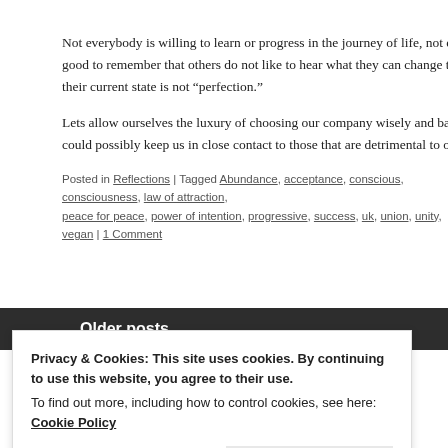Not everybody is willing to learn or progress in the journey of life, not eve good to remember that others do not like to hear what they can change to that their current state is not "perfection."
Lets allow ourselves the luxury of choosing our company wisely and banis could possibly keep us in close contact to those that are detrimental to o
Posted in Reflections | Tagged Abundance, acceptance, conscious, consciousness, law of attraction, peace for peace, power of intention, progressive, success, uk, union, unity, vegan | 1 Comment
Older posts
Privacy & Cookies: This site uses cookies. By continuing to use this website, you agree to their use.
To find out more, including how to control cookies, see here: Cookie Policy